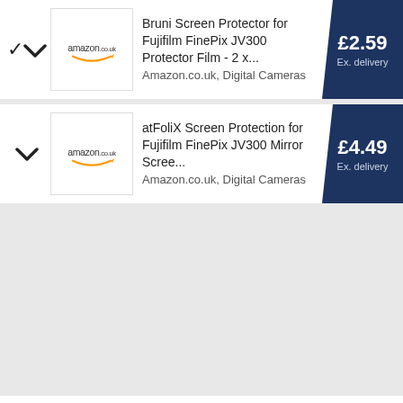[Figure (screenshot): Product listing row 1: Bruni Screen Protector for Fujifilm FinePix JV300 Protector Film - 2 x... Amazon.co.uk, Digital Cameras, price £2.59 Ex. delivery]
[Figure (screenshot): Product listing row 2: atFoliX Screen Protection for Fujifilm FinePix JV300 Mirror Scree... Amazon.co.uk, Digital Cameras, price £4.49 Ex. delivery]
Our site uses cookies to give you the best experience. Manage your cookies here or continue browsing if you're happy.